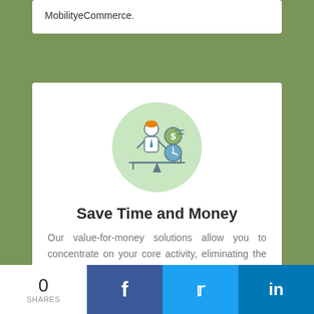MobilityeCommerce.
[Figure (illustration): A person on a balance/scale with a dollar coin and a clock, inside a green circle. Represents saving time and money.]
Save Time and Money
Our value-for-money solutions allow you to concentrate on your core activity, eliminating the needs for heavy investment in hardware or software.
0 SHARES  [Facebook] [Twitter] [LinkedIn]